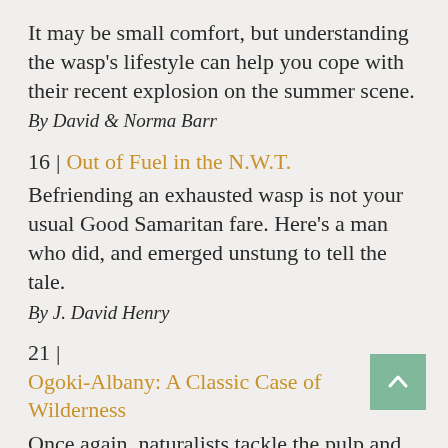It may be small comfort, but understanding the wasp's lifestyle can help you cope with their recent explosion on the summer scene.
By David & Norma Barr
16 | Out of Fuel in the N.W.T.
Befriending an exhausted wasp is not your usual Good Samaritan fare. Here's a man who did, and emerged unstung to tell the tale.
By J. David Henry
21 | Ogoki-Albany: A Classic Case of Wilderness
Once again, naturalists tackle the pulp and